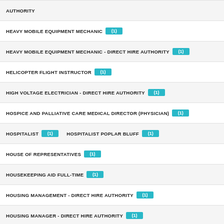AUTHORITY
HEAVY MOBILE EQUIPMENT MECHANIC (1)
HEAVY MOBILE EQUIPMENT MECHANIC - DIRECT HIRE AUTHORITY (1)
HELICOPTER FLIGHT INSTRUCTOR (1)
HIGH VOLTAGE ELECTRICIAN - DIRECT HIRE AUTHORITY (1)
HOSPICE AND PALLIATIVE CARE MEDICAL DIRECTOR (PHYSICIAN) (1)
HOSPITALIST (1) HOSPITALIST POPLAR BLUFF (1)
HOUSE OF REPRESENTATIVES (1)
HOUSEKEEPING AID FULL-TIME (1)
HOUSING MANAGEMENT - DIRECT HIRE AUTHORITY (1)
HOUSING MANAGER - DIRECT HIRE AUTHORITY (1)
HUMAN RESOURCE ASSISTANT - DIRECT HIRE AUTHORITY (1)
HUMAN RESOURCE MANAGEMENT - DIRECT HIRE AUTHORITY (1)
HUMAN RESOURCES ASSISTANT (TECHNICAL SERVICES) (1)